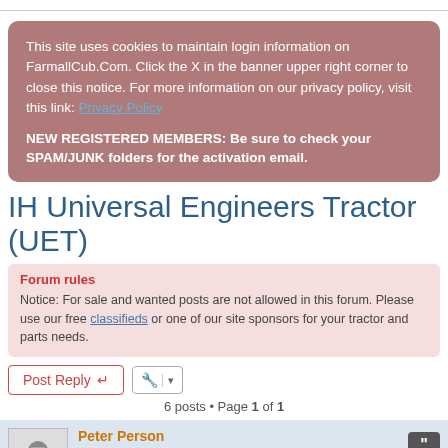This site uses cookies to maintain login information on FarmallCub.Com. Click the X in the banner upper right corner to close this notice. For more information on our privacy policy, visit this link: Privacy Policy
NEW REGISTERED MEMBERS: Be sure to check your SPAM/JUNK folders for the activation email.
IH Universal Engineers Tractor (UET)
Forum rules
Notice: For sale and wanted posts are not allowed in this forum. Please use our free classifieds or one of our site sponsors for your tractor and parts needs.
Post Reply
6 posts • Page 1 of 1
Peter Person
Cub Pro